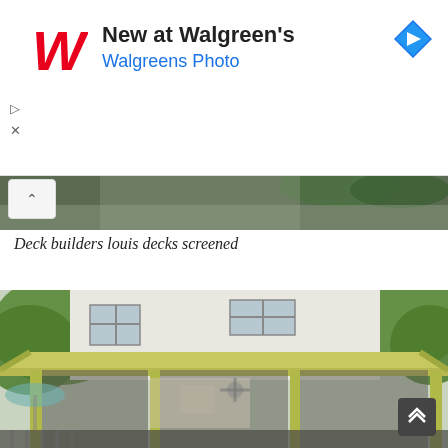[Figure (screenshot): Walgreens advertisement banner with red Walgreens cursive W logo, text 'New at Walgreen's' in bold black and 'Walgreens Photo' in blue, with a blue diamond navigation icon on the right, and playback/close controls on the left]
[Figure (photo): Partial landscape photo strip showing dark soil/mulch and foliage, with a collapse/chevron button overlay on the left]
Deck builders louis decks screened
[Figure (photo): Photo of a screened porch/deck addition on a house, with yellow-green wooden frame, screen panels, attached to a white house with trees in background. A scroll-up button appears in the bottom right corner.]